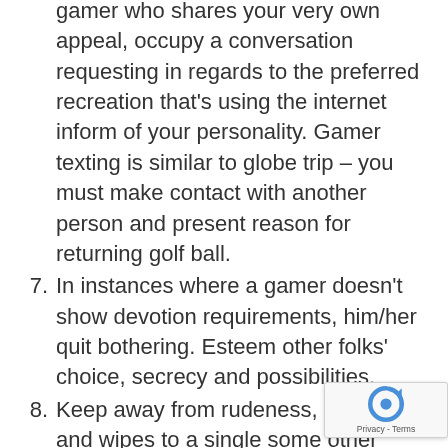gamer who shares your very own appeal, occupy a conversation requesting in regards to the preferred recreation that's using the internet inform of your personality. Gamer texting is similar to globe trip – you must make contact with another person and present reason for returning golf ball.
7. In instances where a gamer doesn't show devotion requirements, him/her quit bothering. Esteem other folks' choice, secrecy and possibilities.
8. Keep away from rudeness, mockery and wipes to a single some other gamers. The cost of busting etiquette may sufficient become high – your very own player membership might restricted forever.
9. Before going on a not online date with a pl... you like, plan a seminar in an over-all open public area. Get ready for virtually any effective